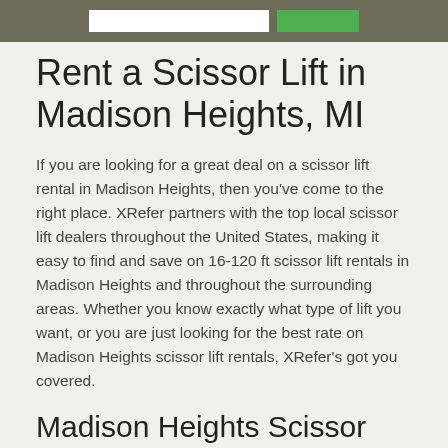[Figure (photo): Navigation header bar with search input field and green button, over outdoor/construction background]
Rent a Scissor Lift in Madison Heights, MI
If you are looking for a great deal on a scissor lift rental in Madison Heights, then you've come to the right place. XRefer partners with the top local scissor lift dealers throughout the United States, making it easy to find and save on 16-120 ft scissor lift rentals in Madison Heights and throughout the surrounding areas. Whether you know exactly what type of lift you want, or you are just looking for the best rate on Madison Heights scissor lift rentals, XRefer's got you covered.
Madison Heights Scissor Lift Rentals Offered
Here at XRefer we know that our customers need different types and sized scissor lifts for their jobs in and around Madison Heights, which is why we've got an unparalleled selection of Madison Heights scissor lift models to choose from. Request a